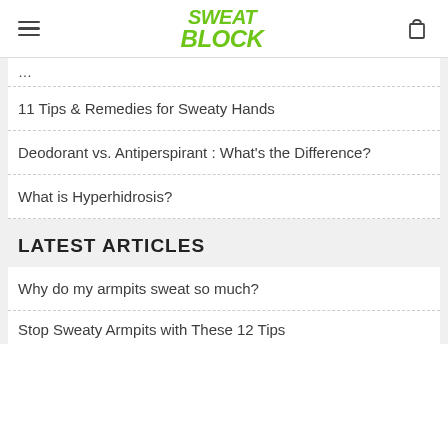SweatBlock (logo), hamburger menu, shopping bag icon
11 Tips & Remedies for Sweaty Hands
Deodorant vs. Antiperspirant : What's the Difference?
What is Hyperhidrosis?
LATEST ARTICLES
Why do my armpits sweat so much?
Stop Sweaty Armpits with These 12 Tips